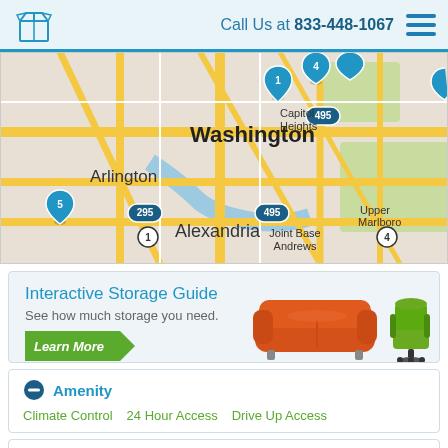Call Us at 833-448-1067
[Figure (map): Google Maps view showing Washington DC area with blue numbered location pins (1, 4, 5 visible), showing neighborhoods: Arlington, Washington, Capitol Heights, Alexandria, Joint Base Andrews, Upper Marlboro. Interstate markers 295, 495, 1, 4 visible.]
Interactive Storage Guide
See how much storage you need.
Learn More
[Figure (illustration): Orange sofa and green office chair illustration]
Amenity
Climate Control
24 Hour Access
Drive Up Access
Size